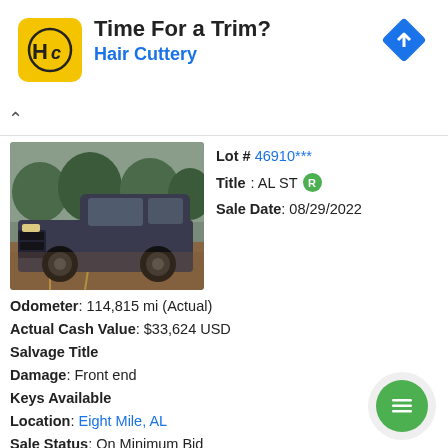[Figure (screenshot): Advertisement banner for Hair Cuttery with logo and navigation icon]
Time For a Trim?
Hair Cuttery
Lot # 46910***
Title: AL ST R
Sale Date: 08/29/2022
[Figure (photo): Dark grey GMC pickup truck in a parking lot]
Odometer: 114,815 mi (Actual)
Actual Cash Value: $33,624 USD
Salvage Title
Damage: Front end
Keys Available
Location: Eight Mile, AL
Sale Status: On Minimum Bid